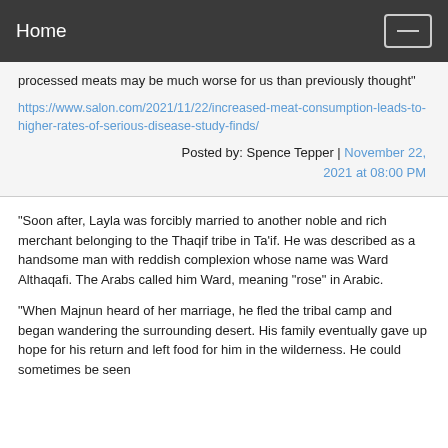Home
processed meats may be much worse for us than previously thought"
https://www.salon.com/2021/11/22/increased-meat-consumption-leads-to-higher-rates-of-serious-disease-study-finds/
Posted by: Spence Tepper | November 22, 2021 at 08:00 PM
"Soon after, Layla was forcibly married to another noble and rich merchant belonging to the Thaqif tribe in Ta'if. He was described as a handsome man with reddish complexion whose name was Ward Althaqafi. The Arabs called him Ward, meaning "rose" in Arabic.
"When Majnun heard of her marriage, he fled the tribal camp and began wandering the surrounding desert. His family eventually gave up hope for his return and left food for him in the wilderness. He could sometimes be seen